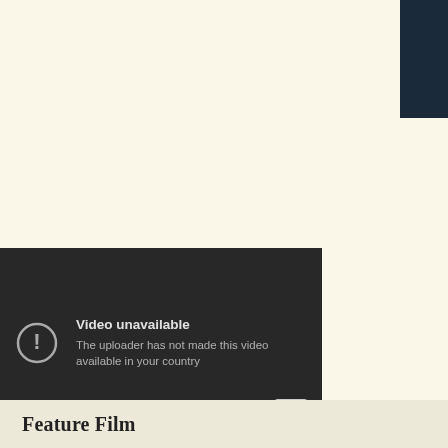[Figure (screenshot): Screenshot of an embedded YouTube video showing an error state: 'Video unavailable — The uploader has not made this video available in your country', with a YouTube play button icon in the bottom-right corner. The video player background is dark (#282828). There is also a partial dark photo/image visible in the top-right corner of the page.]
Feature Film